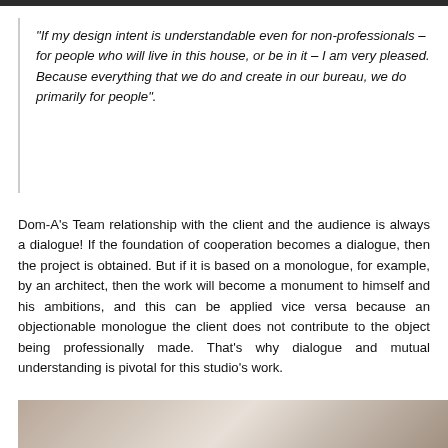“If my design intent is understandable even for non-professionals – for people who will live in this house, or be in it – I am very pleased. Because everything that we do and create in our bureau, we do primarily for people”.
Dom-A’s Team relationship with the client and the audience is always a dialogue! If the foundation of cooperation becomes a dialogue, then the project is obtained. But if it is based on a monologue, for example, by an architect, then the work will become a monument to himself and his ambitions, and this can be applied vice versa because an objectionable monologue the client does not contribute to the object being professionally made. That’s why dialogue and mutual understanding is pivotal for this studio’s work.
[Figure (photo): Partial view of a book or architectural publication with curved pages, showing a close-up abstract shot in warm tones.]